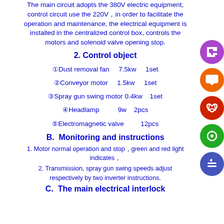The main circuit adopts the 380V electric equipment, control circuit use the 220V，in order to facilitate the operation and maintenance, the electrical equipment is installed in the centralized control box, controls the motors and solenoid valve opening stop.
2. Control object
①Dust removal fan   7.5kw   1set
②Conveyor motor   1.5kw   1set
③Spray gun swing motor  0.4kw   1set
④Headlamp   9w   2pcs
⑤Electromagnetic valve   12pcs
B.  Monitoring and instructions
1. Motor normal operation and stop，green and red light indicates，
2. Transmission, spray gun swing speeds adjust respectively by two inverter instructions.
C.  The main electrical interlock